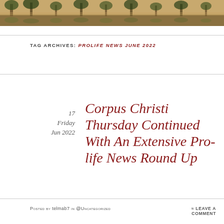[Figure (photo): Header photo showing a waterfront/riverside scene with trees and their reflections in the water, warm golden tones.]
TAG ARCHIVES: PROLIFE NEWS JUNE 2022
17
Friday
Jun 2022
Corpus Christi Thursday Continued With An Extensive Pro-life News Round Up
Posted by telmab7 in @Uncategorized   ≈ Leave a comment